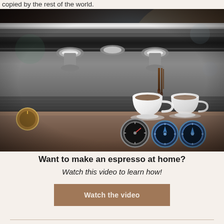copied by the rest of the world.
[Figure (photo): Close-up photo of a professional espresso machine with chrome portafilters, espresso being poured into two white ceramic cups sitting on a ribbed metal drip tray, with gauge dials visible in the foreground]
Want to make an espresso at home?
Watch this video to learn how!
Watch the video